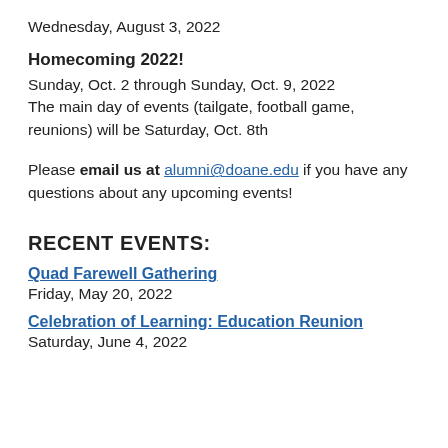Wednesday, August 3, 2022
Homecoming 2022!
Sunday, Oct. 2 through Sunday, Oct. 9, 2022
The main day of events (tailgate, football game, reunions) will be Saturday, Oct. 8th
Please email us at alumni@doane.edu if you have any questions about any upcoming events!
RECENT EVENTS:
Quad Farewell Gathering
Friday, May 20, 2022
Celebration of Learning: Education Reunion
Saturday, June 4, 2022